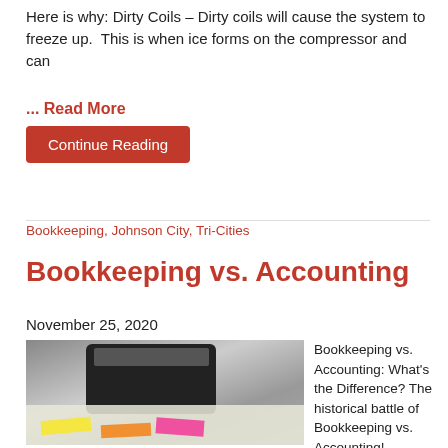Here is why: Dirty Coils – Dirty coils will cause the system to freeze up.  This is when ice forms on the compressor and can
... Read More
Continue Reading
Bookkeeping, Johnson City, Tri-Cities
Bookkeeping vs. Accounting
November 25, 2020
[Figure (photo): Photo of a black calculator on top of financial documents with colorful sticky note tabs]
Bookkeeping vs. Accounting: What’s the Difference? The historical battle of Bookkeeping vs. Accounting!